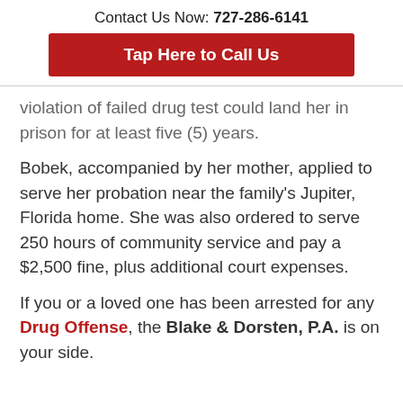Contact Us Now: 727-286-6141
Tap Here to Call Us
...violation of failed drug test could land her in prison for at least five (5) years.
Bobek, accompanied by her mother, applied to serve her probation near the family's Jupiter, Florida home. She was also ordered to serve 250 hours of community service and pay a $2,500 fine, plus additional court expenses.
If you or a loved one has been arrested for any Drug Offense, the Blake & Dorsten, P.A. is on your side.